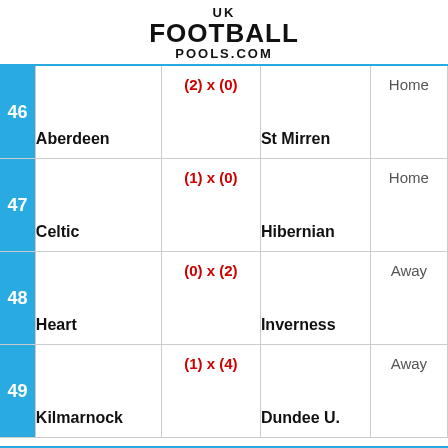UK FOOTBALL POOLS.COM
| # | Home | Score | Away | Result |
| --- | --- | --- | --- | --- |
| 46 | Aberdeen | (2) x (0) | St Mirren | Home |
| 47 | Celtic | (1) x (0) | Hibernian | Home |
| 48 | Heart | (0) x (2) | Inverness | Away |
| 49 | Kilmarnock | (1) x (4) | Dundee U. | Away |
YOU MAY LIKE
[Figure (screenshot): BitLife advertisement banner: NOW WITH GOD MODE]